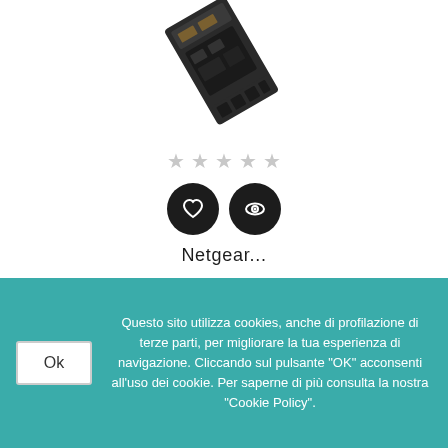[Figure (photo): Product photo of a Netgear SFP transceiver module, dark colored hardware component shown at an angle against white background]
[Figure (other): Five gray star rating icons in a row]
[Figure (other): Two circular black icon buttons: a heart/wishlist icon and an eye/view icon]
Netgear...
Questo sito utilizza cookies, anche di profilazione di terze parti, per migliorare la tua esperienza di navigazione. Cliccando sul pulsante "OK" acconsenti all'uso dei cookie. Per saperne di più consulta la nostra "Cookie Policy".